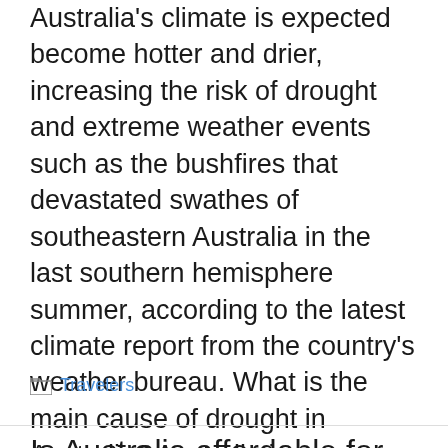Australia's climate is expected become hotter and drier, increasing the risk of drought and extreme weather events such as the bushfires that devastated swathes of southeastern Australia in the last southern hemisphere summer, according to the latest climate report from the country's weather bureau. What is the main cause of drought in Australia? Australia is …
Read more
Travelers
Is Australia affordable for